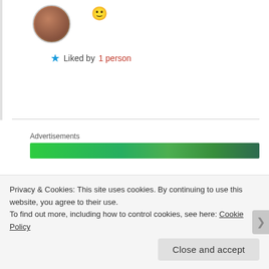[Figure (photo): Circular avatar photo of a woman with glasses and reddish-brown hair, and a smiley face emoji to the right]
★ Liked by 1 person
Advertisements
[Figure (other): Green advertisement banner]
JEWISH THOUGHTS  July 3, 2017 at 12:07 PM  LOG IN TO REPLY
Hi there, thanks for commenting on my post
Privacy & Cookies: This site uses cookies. By continuing to use this website, you agree to their use.
To find out more, including how to control cookies, see here: Cookie Policy
Close and accept